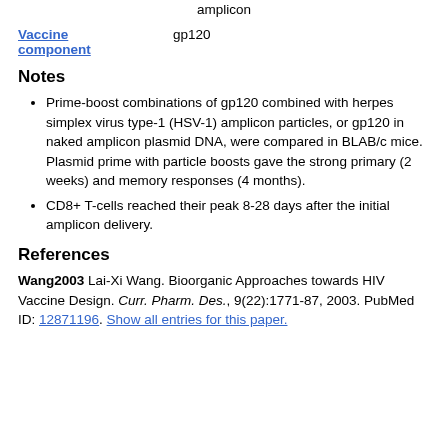amplicon
Vaccine component
gp120
Notes
Prime-boost combinations of gp120 combined with herpes simplex virus type-1 (HSV-1) amplicon particles, or gp120 in naked amplicon plasmid DNA, were compared in BLAB/c mice. Plasmid prime with particle boosts gave the strong primary (2 weeks) and memory responses (4 months).
CD8+ T-cells reached their peak 8-28 days after the initial amplicon delivery.
References
Wang2003 Lai-Xi Wang. Bioorganic Approaches towards HIV Vaccine Design. Curr. Pharm. Des., 9(22):1771-87, 2003. PubMed ID: 12871196. Show all entries for this paper.